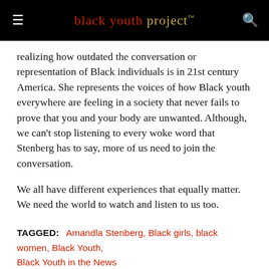black youth project™
realizing how outdated the conversation or representation of Black individuals is in 21st century America. She represents the voices of how Black youth everywhere are feeling in a society that never fails to prove that you and your body are unwanted. Although, we can't stop listening to every woke word that Stenberg has to say, more of us need to join the conversation.
We all have different experiences that equally matter. We need the world to watch and listen to us too.
TAGGED: Amandla Stenberg, Black girls, black women, Black Youth, Black Youth in the News